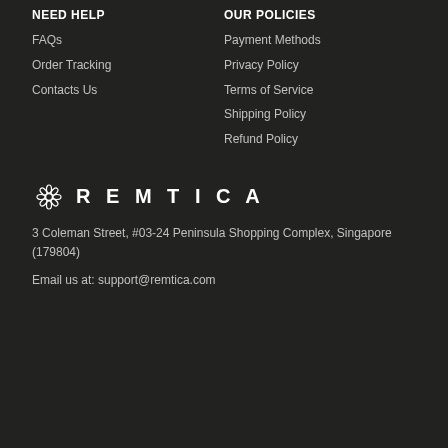NEED HELP
FAQs
Order Tracking
Contacts Us
OUR POLICIES
Payment Methods
Privacy Policy
Terms of Service
Shipping Policy
Refund Policy
[Figure (logo): Remtica flower logo with text REMTICA]
3 Coleman Street, #03-24 Peninsula Shopping Complex, Singapore (179804)
Email us at: support@remtica.com